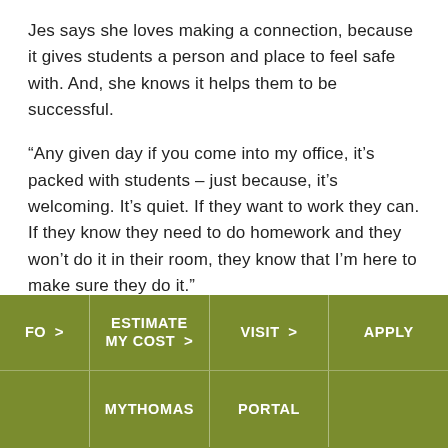Jes says she loves making a connection, because it gives students a person and place to feel safe with. And, she knows it helps them to be successful.
“Any given day if you come into my office, it’s packed with students – just because, it’s welcoming. It’s quiet. If they want to work they can. If they know they need to do homework and they won’t do it in their room, they know that I’m here to make sure they do it.”
FO > | ESTIMATE MY COST > | VISIT > | APPLY | MYTHOMAS | PORTAL